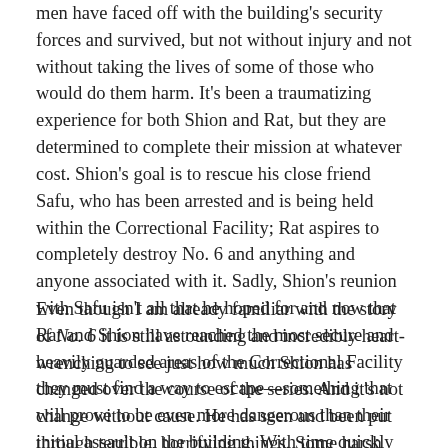men have faced off with the building's security forces and survived, but not without injury and not without taking the lives of some of those who would do them harm. It's been a traumatizing experience for both Shion and Rat, but they are determined to complete their mission at whatever cost. Shion's goal is to rescue his close friend Safu, who has been arrested and is being held within the Correctional Facility; Rat aspires to completely destroy No. 6 and anything and anyone associated with it. Sadly, Shion's reunion with Safu isn't all that he hoped for and now that Rat and Shion have reached the most secure and heavily guarded areas of the Correctional Facility they must find a way to escape—something that will prove to be even more dangerous than their initial assault on the building. With time quickly running out, it will be all that they can do just to survive.
Even though I am already familiar with the story of No. 6 it is still astounding and incredibly heart-wrenching to see just how much Shion has changed over the course of the series. And it's not change without cause. He has seen and been put through terrible, horrifying things. Some harsh truths and